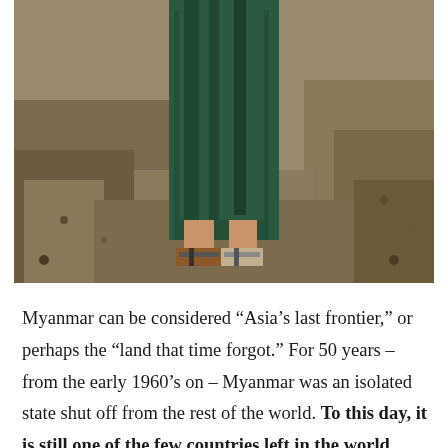[Figure (photo): Partial photo of a person wearing a dark green/teal skirt and sandals standing on rocky ground. Only the lower body is visible.]
Myanmar can be considered “Asia’s last frontier,” or perhaps the “land that time forgot.” For 50 years – from the early 1960’s on – Myanmar was an isolated state shut off from the rest of the world. To this day, it is still one of the few countries left in the world without a Starbucks. Over the last few years the country, formerly known as Burma, has been opening up to tourism and has seen an increase in